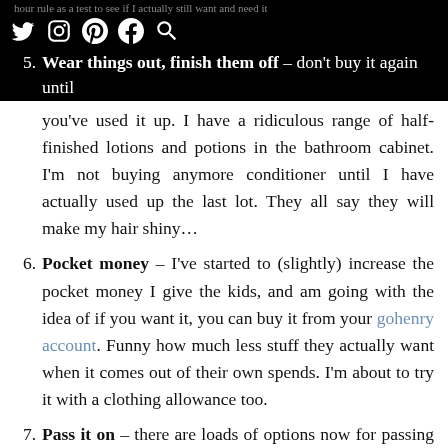hour rule as a test to see if I actually still want and need it
5. Wear things out, finish them off – don't buy it again until you've used it up. I have a ridiculous range of half-finished lotions and potions in the bathroom cabinet. I'm not buying anymore conditioner until I have actually used up the last lot. They all say they will make my hair shiny…
6. Pocket money – I've started to (slightly) increase the pocket money I give the kids, and am going with the idea of if you want it, you can buy it from your gohenry account. Funny how much less stuff they actually want when it comes out of their own spends. I'm about to try it with a clothing allowance too.
7. Pass it on – there are loads of options now for passing things along when they are no longer needed, old lego to the local library club, children's books to your local nursery, children's clothes to the local women's refuge. My mum's